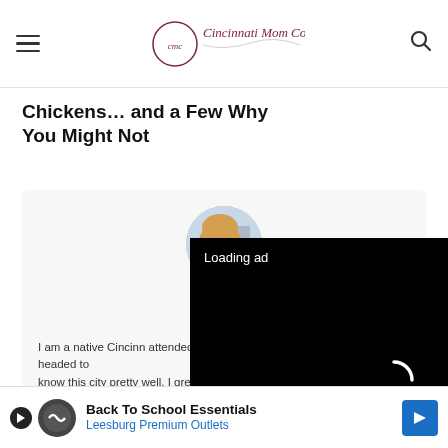Cincinnati Mom Collective
Chickens… and a Few Why You Might Not
[Figure (photo): Author photo — woman with blonde hair, smiling, outdoors]
An
http://w
I am a native Cincinn know this city pretty well. I grew up on the Westside, attended Walnut Hills High School, and then headed to
[Figure (screenshot): Video ad overlay with 'Loading ad' text, spinner, and playback controls (pause, expand, mute) on black background]
[Figure (other): Bottom banner advertisement for Back To School Essentials at Leesburg Premium Outlets]